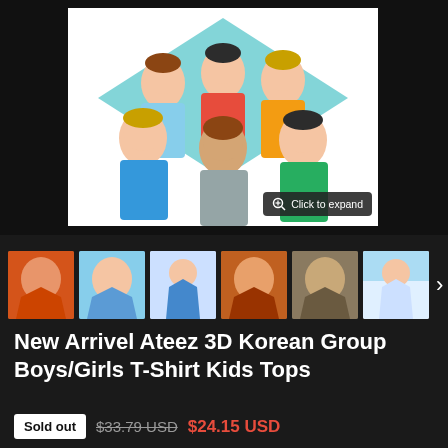[Figure (photo): Main product image showing group of young Korean boys/men posing together in colorful outfits against a teal geometric background, displayed on a white background card with a 'Click to expand' zoom button overlay]
[Figure (photo): Thumbnail strip showing 6 product variant images of 3D printed t-shirts with different K-pop group designs, followed by a right arrow navigation indicator]
New Arrivel Ateez 3D Korean Group Boys/Girls T-Shirt Kids Tops
Sold out  $33.79 USD  $24.15 USD